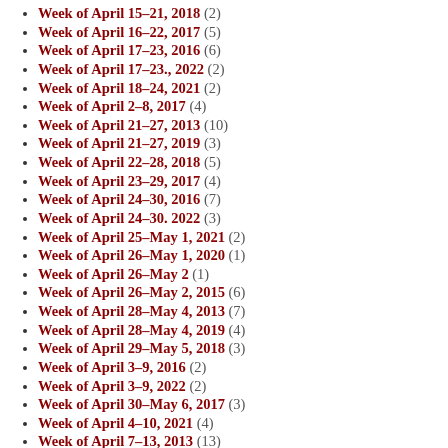Week of April 15–21, 2018 (2)
Week of April 16–22, 2017 (5)
Week of April 17–23, 2016 (6)
Week of April 17–23., 2022 (2)
Week of April 18–24, 2021 (2)
Week of April 2–8, 2017 (4)
Week of April 21–27, 2013 (10)
Week of April 21–27, 2019 (3)
Week of April 22–28, 2018 (5)
Week of April 23–29, 2017 (4)
Week of April 24–30, 2016 (7)
Week of April 24–30. 2022 (3)
Week of April 25–May 1, 2021 (2)
Week of April 26–May 1, 2020 (1)
Week of April 26–May 2 (1)
Week of April 26–May 2, 2015 (6)
Week of April 28–May 4, 2013 (7)
Week of April 28–May 4, 2019 (4)
Week of April 29–May 5, 2018 (3)
Week of April 3–9, 2016 (2)
Week of April 3–9, 2022 (2)
Week of April 30–May 6, 2017 (3)
Week of April 4–10, 2021 (4)
Week of April 7–13, 2013 (13)
Week of April 7–13, 2019 (3)